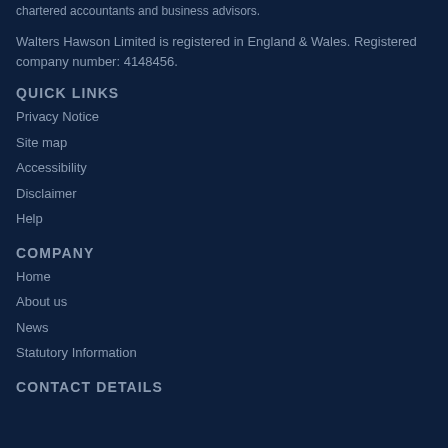chartered accountants and business advisors.
Walters Hawson Limited is registered in England & Wales. Registered company number: 4148456.
QUICK LINKS
Privacy Notice
Site map
Accessibility
Disclaimer
Help
COMPANY
Home
About us
News
Statutory Information
CONTACT DETAILS